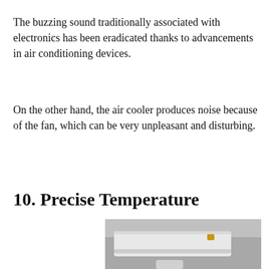The buzzing sound traditionally associated with electronics has been eradicated thanks to advancements in air conditioning devices.
On the other hand, the air cooler produces noise because of the fan, which can be very unpleasant and disturbing.
10. Precise Temperature
[Figure (photo): A white wall-mounted air conditioning unit photographed from below against a grey background.]